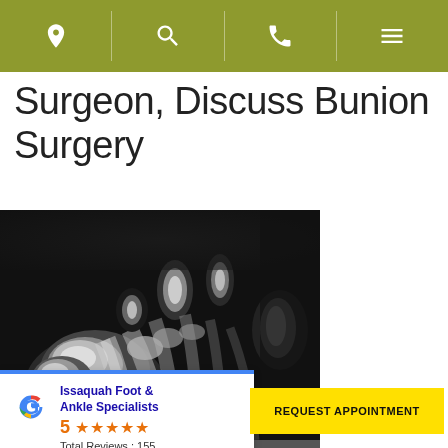Navigation bar with location, search, phone, menu icons
Surgeon, Discuss Bunion Surgery
[Figure (photo): X-ray image of a foot showing bones and toes, particularly showing a bunion deformity on the big toe]
[Figure (infographic): Google review card showing Issaquah Foot & Ankle Specialists with 5-star rating and 155 total reviews]
REQUEST APPOINTMENT